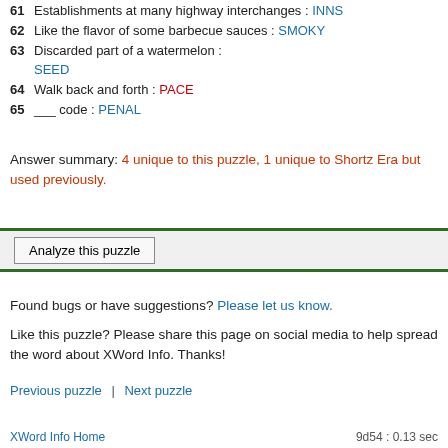61 Establishments at many highway interchanges : INNS
62 Like the flavor of some barbecue sauces : SMOKY
63 Discarded part of a watermelon : SEED
64 Walk back and forth : PACE
65 ___ code : PENAL
Answer summary: 4 unique to this puzzle, 1 unique to Shortz Era but used previously.
[Figure (other): Analyze this puzzle button inside a gray box bordered by dark green horizontal bars]
Found bugs or have suggestions? Please let us know.
Like this puzzle? Please share this page on social media to help spread the word about XWord Info. Thanks!
Previous puzzle | Next puzzle
XWord Info Home    9d54 : 0.13 sec